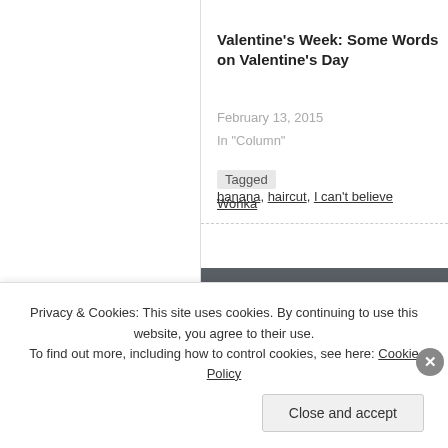Valentine's Week: Some Words on Valentine's Day
February 13, 2015
In "Column"
Tagged  banana, haircut, I can't believe... Wonka
8 thoughts on “Help me
Privacy & Cookies: This site uses cookies. By continuing to use this website, you agree to their use.
To find out more, including how to control cookies, see here: Cookie Policy
Close and accept